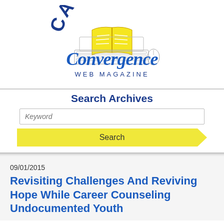[Figure (logo): Career Convergence Web Magazine logo with open book and laptop/computer graphic in blue and yellow]
Search Archives
Keyword
Search
09/01/2015
Revisiting Challenges And Reviving Hope While Career Counseling Undocumented Youth